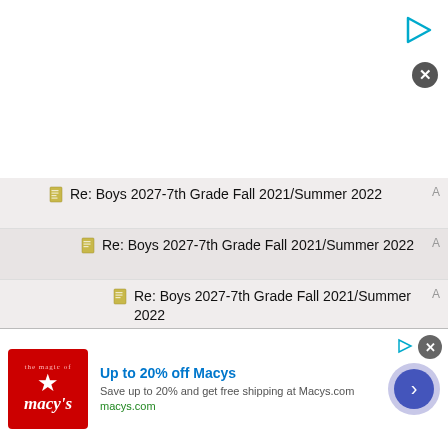[Figure (screenshot): Top advertisement area with white background, play button icon and close button in top right corner]
Re: Boys 2027-7th Grade Fall 2021/Summer 2022
Re: Boys 2027-7th Grade Fall 2021/Summer 2022
Re: Boys 2027-7th Grade Fall 2021/Summer 2022
Re: Boys 2027-7th Grade Fall 2021/Summer 2022
Re: Boys 2027-7th Grade Fall 2021/Summer 2022
Re: Boys 2027-7th Grade Fall 2021/Summer 2022
Re: Boys 2027-7th Grade Fall 2021/Summer 2022
[Figure (screenshot): Bottom advertisement for Macys: Up to 20% off Macys. Save up to 20% and get free shipping at Macys.com. macys.com. Red Macys logo on left, forward arrow button on right.]